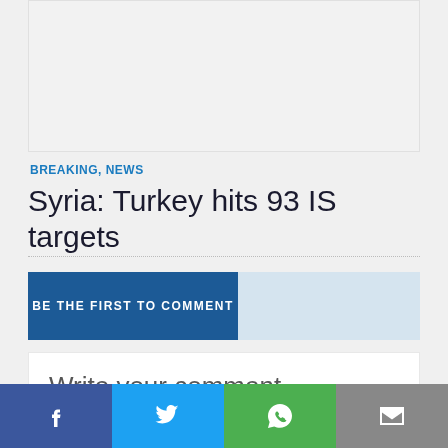[Figure (other): Advertisement placeholder area, light gray background]
BREAKING, NEWS
Syria: Turkey hits 93 IS targets
BE THE FIRST TO COMMENT
Write your comment
[Figure (other): Social media share bar with Facebook, Twitter, WhatsApp, and Email buttons]